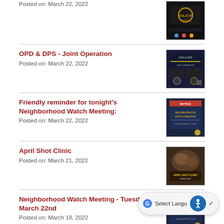Posted on: March 22, 2022
[Figure (screenshot): Thumbnail image with 'Major Crash' text on dark background]
OPD & DPS - Joint Operation
Posted on: March 22, 2022
[Figure (screenshot): Thumbnail image with 'OPD & DPS' text on dark background]
Friendly reminder for tonight's Neighborhood Watch Meeting:
Posted on: March 22, 2022
[Figure (screenshot): Thumbnail image for Neighborhood Watch Meeting on dark blue background]
April Shot Clinic
Posted on: March 21, 2022
[Figure (screenshot): Thumbnail image for April Shot Clinic with animals on brown background]
Neighborhood Watch Meeting - Tuesday, March 22nd
Posted on: March 18, 2022
[Figure (screenshot): Thumbnail image for Neighborhood Watch Meeting on dark blue background]